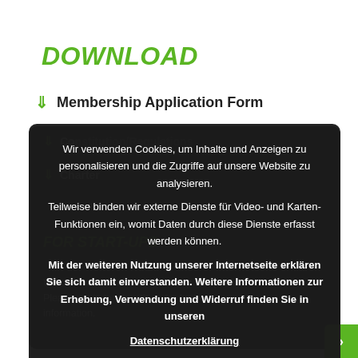DOWNLOAD
Membership Application Form
Wir verwenden Cookies, um Inhalte und Anzeigen zu personalisieren und die Zugriffe auf unsere Website zu analysieren. Teilweise binden wir externe Dienste für Video- und Karten-Funktionen ein, womit Daten durch diese Dienste erfasst werden können.
Mit der weiteren Nutzung unserer Internetseite erklären Sie sich damit einverstanden. Weitere Informationen zur Erhebung, Verwendung und Widerruf finden Sie in unseren
Datenschutzerklärung
Akzeptieren